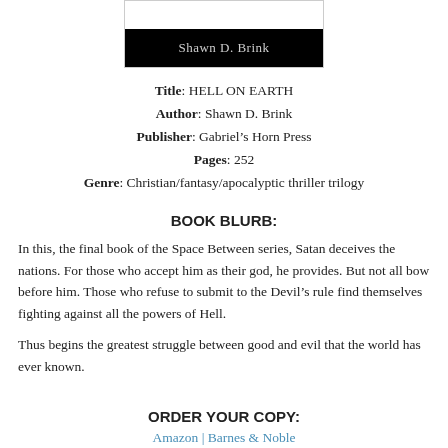[Figure (illustration): Book cover image showing a black band at the bottom with the author name 'Shawn D. Brink' in light gray text on a dark background, within a light gray border frame.]
Title: HELL ON EARTH
Author: Shawn D. Brink
Publisher: Gabriel's Horn Press
Pages: 252
Genre: Christian/fantasy/apocalyptic thriller trilogy
BOOK BLURB:
In this, the final book of the Space Between series, Satan deceives the nations. For those who accept him as their god, he provides. But not all bow before him. Those who refuse to submit to the Devil's rule find themselves fighting against all the powers of Hell.
Thus begins the greatest struggle between good and evil that the world has ever known.
ORDER YOUR COPY:
Amazon | Barnes & Noble